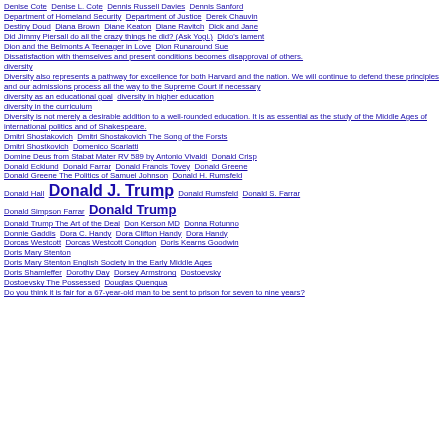Denise Cote  Denise L. Cote  Dennis Russell Davies  Dennis Sanford  Department of Homeland Security  Department of Justice  Derek Chauvin  Destiny Doud  Diana Brown  Diane Keaton  Diane Ravitch  Dick and Jane  Did Jimmy Piersall do all the crazy things he did? (Ask Yogi.)  Dido's lament  Dion and the Belmonts A Teenager in Love  Dion Runaround Sue  Dissatisfaction with themselves and present conditions becomes disapproval of others.  diversity  Diversity also represents a pathway for excellence for both Harvard and the nation. We will continue to defend these principles and our admissions process all the way to the Supreme Court if necessary  diversity as an educational goal  diversity in higher education  diversity in the curriculum  Diversity is not merely a desirable addition to a well-rounded education. It is as essential as the study of the Middle Ages of international politics and of Shakespeare.  Dmitri Shostakovich  Dmitri Shostakovich The Song of the Forsts  Dmitri Shostkovich  Domenico Scarlatti  Domine Deus from Stabat Mater RV 589 by Antonio Vivaldi  Donald Crisp  Donald Ecklund  Donald Farrar  Donald Francis Tovey  Donald Greene  Donald Greene The Politics of Samuel Johnson  Donald H. Rumsfeld  Donald Hall  Donald J. Trump  Donald Rumsfeld  Donald S. Farrar  Donald Simpson Farrar  Donald Trump  Donald Trump The Art of the Deal  Don Kerson MD  Donna Rotunno  Donnie Gaddis  Dora C. Handy  Dora Clifton Handy  Dora Handy  Dorcas Westcott  Dorcas Westcott Congdon  Doris Kearns Goodwin  Doris Mary Stenton  Doris Mary Stenton English Society in the Early Middle Ages  Doris Shamleffer  Dorothy Day  Dorsey Armstrong  Dostoevsky  Dostoevsky The Possessed  Douglas Quenqua  Do you think it is fair for a 67-year-old man to be sent to prison for seven to nine years?